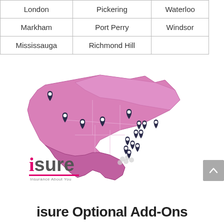| London | Pickering | Waterloo |
| Markham | Port Perry | Windsor |
| Mississauga | Richmond Hill |  |
[Figure (map): Pink map of Ontario province showing multiple location pins (branch offices) clustered around southern Ontario, with denser concentration in the GTA/southeastern region.]
[Figure (logo): isure logo — pink 'i' followed by grey 'sure', with tagline 'Insurance About You' and a pink underline bar.]
isure Optional Add-Ons